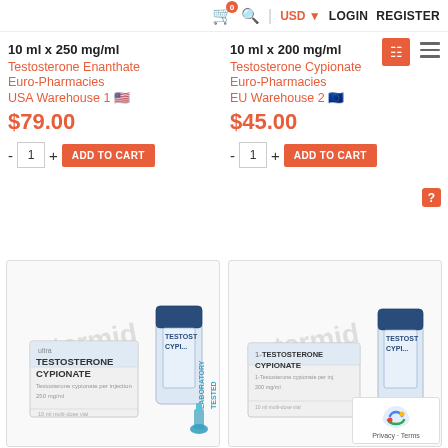0 (cart) | Search | USD | LOGIN | REGISTER
10 ml x 250 mg/ml
Testosterone Enanthate
Euro-Pharmacies
USA Warehouse 1 🇺🇸🇸
$79.00
10 ml x 200 mg/ml
Testosterone Cypionate
Euro-Pharmacies
EU Warehouse 2 🇪🇺
$45.00
[Figure (photo): Product image: Testosterone Cypionate box and vial with LABORATORY TESTED badge]
[Figure (photo): Product image: 1-Testosterone Cypionate box and vial with Stermid watermark]